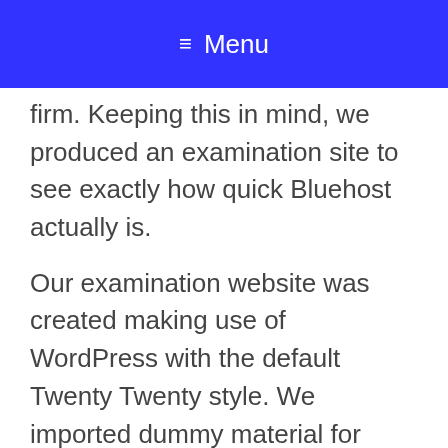≡ Menu
firm. Keeping this in mind, we produced an examination site to see exactly how quick Bluehost actually is.
Our examination website was created making use of WordPress with the default Twenty Twenty style. We imported dummy material for theme development consisting of pictures. Afterwards, we used Pingdom to examine the website rate.